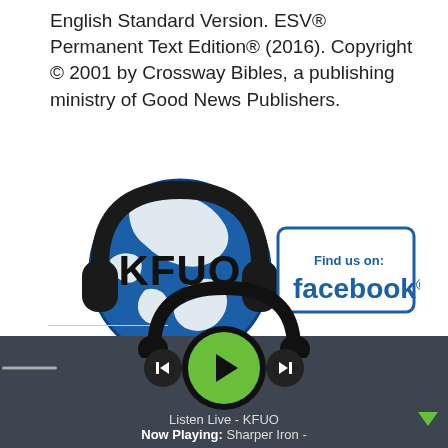English Standard Version. ESV® Permanent Text Edition® (2016). Copyright © 2001 by Crossway Bibles, a publishing ministry of Good News Publishers.
[Figure (logo): KFUO radio logo with globe wearing headphones and 'Find us on: facebook.' banner to the right]
Share this:
[Figure (screenshot): Twitter and Facebook share icon buttons (circles)]
[Figure (infographic): Audio player bar with headphone graphic, play button (green), previous and next buttons, volume control, Listen Live - KFUO label, Now Playing: Sharper Iron -]
Listen Live - KFUO
Now Playing: Sharper Iron -